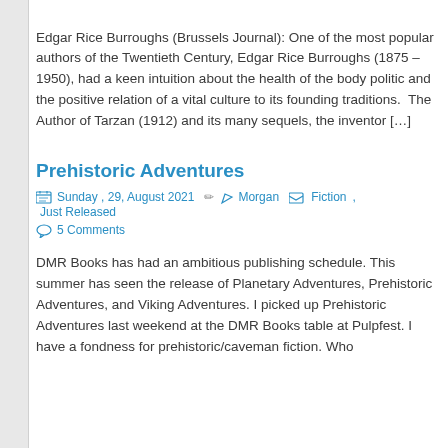Edgar Rice Burroughs (Brussels Journal): One of the most popular authors of the Twentieth Century, Edgar Rice Burroughs (1875 – 1950), had a keen intuition about the health of the body politic and the positive relation of a vital culture to its founding traditions.  The Author of Tarzan (1912) and its many sequels, the inventor […]
Prehistoric Adventures
Sunday , 29, August 2021  Morgan  Fiction ,  Just Released
5 Comments
DMR Books has had an ambitious publishing schedule. This summer has seen the release of Planetary Adventures, Prehistoric Adventures, and Viking Adventures. I picked up Prehistoric Adventures last weekend at the DMR Books table at Pulpfest. I have a fondness for prehistoric/caveman fiction. Who